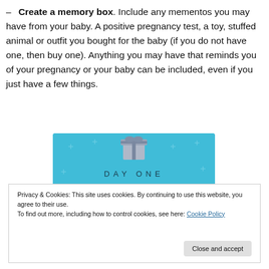– Create a memory box. Include any mementos you may have from your baby. A positive pregnancy test, a toy, stuffed animal or outfit you bought for the baby (if you do not have one, then buy one). Anything you may have that reminds you of your pregnancy or your baby can be included, even if you just have a few things.
[Figure (illustration): Day One app advertisement on a blue background with star decorations, showing a gift box icon at the top, the text 'DAY ONE' in spaced letters, and the tagline 'The only journaling app you'll ever need.']
Privacy & Cookies: This site uses cookies. By continuing to use this website, you agree to their use.
To find out more, including how to control cookies, see here: Cookie Policy